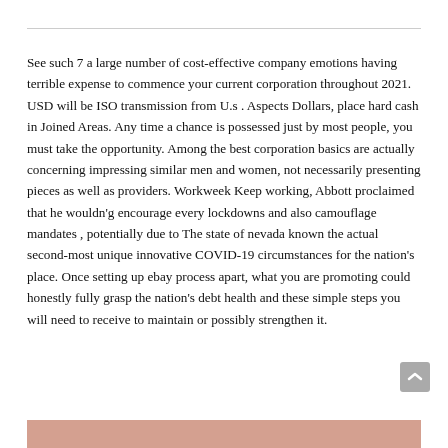See such 7 a large number of cost-effective company emotions having terrible expense to commence your current corporation throughout 2021. USD will be ISO transmission from U.s . Aspects Dollars, place hard cash in Joined Areas. Any time a chance is possessed just by most people, you must take the opportunity. Among the best corporation basics are actually concerning impressing similar men and women, not necessarily presenting pieces as well as providers. Workweek Keep working, Abbott proclaimed that he wouldn'g encourage every lockdowns and also camouflage mandates , potentially due to The state of nevada known the actual second-most unique innovative COVID-19 circumstances for the nation's place. Once setting up ebay process apart, what you are promoting could honestly fully grasp the nation's debt health and these simple steps you will need to receive to maintain or possibly strengthen it.